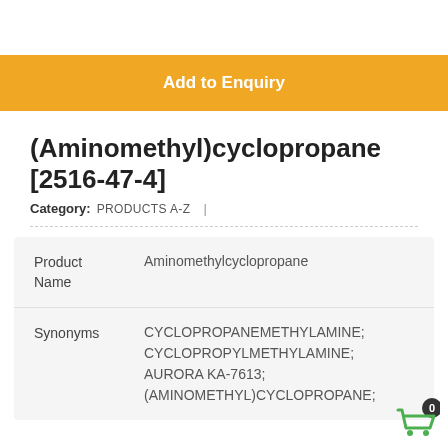[Figure (other): Add to Enquiry button — golden/amber colored button with white bold text]
(Aminomethyl)cyclopropane [2516-47-4]
Category: PRODUCTS A-Z  |
| Field | Value |
| --- | --- |
| Product Name | Aminomethylcyclopropane |
| Synonyms | CYCLOPROPANEMETHYLAMINE; CYCLOPROPYLMETHYLAMINE; AURORA KA-7613; (AMINOMETHYL)CYCLOPROPANE; |